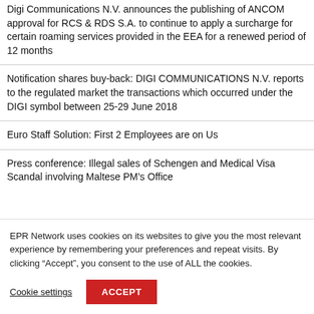Digi Communications N.V. announces the publishing of ANCOM approval for RCS & RDS S.A. to continue to apply a surcharge for certain roaming services provided in the EEA for a renewed period of 12 months
Notification shares buy-back: DIGI COMMUNICATIONS N.V. reports to the regulated market the transactions which occurred under the DIGI symbol between 25-29 June 2018
Euro Staff Solution: First 2 Employees are on Us
Press conference: Illegal sales of Schengen and Medical Visa Scandal involving Maltese PM's Office
EPR Network uses cookies on its websites to give you the most relevant experience by remembering your preferences and repeat visits. By clicking “Accept”, you consent to the use of ALL the cookies.